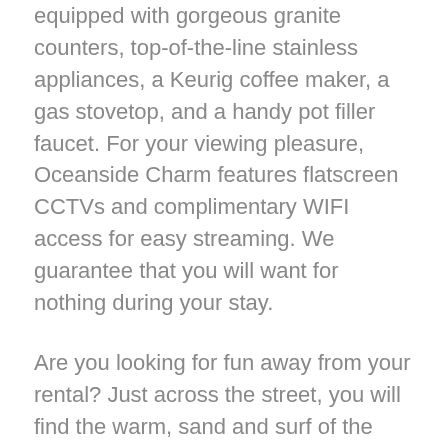equipped with gorgeous granite counters, top-of-the-line stainless appliances, a Keurig coffee maker, a gas stovetop, and a handy pot filler faucet. For your viewing pleasure, Oceanside Charm features flatscreen CCTVs and complimentary WIFI access for easy streaming. We guarantee that you will want for nothing during your stay.
Are you looking for fun away from your rental? Just across the street, you will find the warm, sand and surf of the beach. Lose yourself in the timeless beauty of the South Carolina shore as you melt into the loving embrace of the comfortable beach chair. Spend some quality time with your kids building intricate sand sculptures and towering sandcastles. Walk hand in hand down the beach with that certain special someone as you both spend a pleasurable afternoon hunting for shells and colorful sea glass. Then, as the light of day